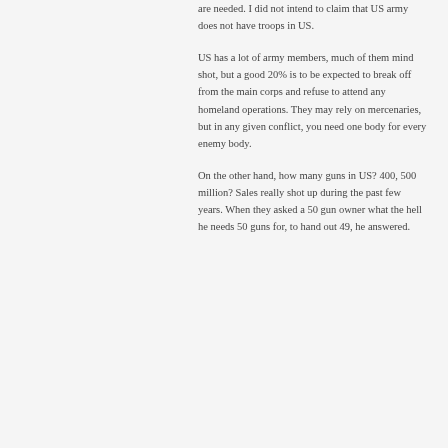are needed. I did not intend to claim that US army does not have troops in US.
US has a lot of army members, much of them mind shot, but a good 20% is to be expected to break off from the main corps and refuse to attend any homeland operations. They may rely on mercenaries, but in any given conflict, you need one body for every enemy body.
On the other hand, how many guns in US? 400, 500 million? Sales really shot up during the past few years. When they asked a 50 gun owner what the hell he needs 50 guns for, to hand out 49, he answered.